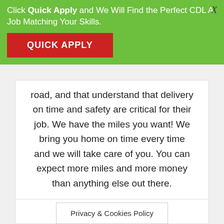Click Quick Apply and We Will Find the Perfect CDL A Job Matching Your Skills.
QUICK APPLY
road, and that understand that delivery on time and safety are critical for their job. We have the miles you want! We bring you home on time every time and we will take care of you. You can expect more miles and more money than anything else out there.
| Location | Salary |
| --- | --- |
| Idaho, USA | $55k - $70k |
Privacy & Cookies Policy